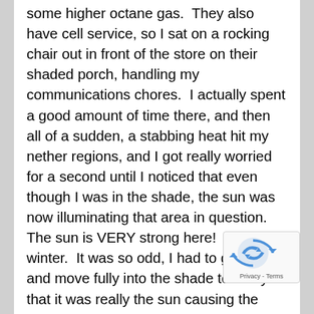some higher octane gas.  They also have cell service, so I sat on a rocking chair out in front of the store on their shaded porch, handling my communications chores.  I actually spent a good amount of time there, and then all of a sudden, a stabbing heat hit my nether regions, and I got really worried for a second until I noticed that even though I was in the shade, the sun was now illuminating that area in question.  The sun is VERY strong here!  Even in winter.  It was so odd, I had to get up and move fully into the shade to verify that it was really the sun causing the pain and not some kind of strange sign of imminent medical catastrophe!
I first heard of Death Valley in Ultrarunning forums, books, and a couple movies.  There is a race called the Badwater 135 Ultramarathon.  It starts at Badwater Basin, which is the lowest point in North